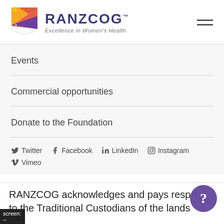[Figure (logo): RANZCOG logo — shield shape with orange/red/purple gradient and stars, beside text 'RANZCOG™ Excellence in Women's Health']
Events
Commercial opportunities
Donate to the Foundation
Twitter  Facebook  LinkedIn  Instagram  Vimeo
RANZCOG acknowledges and pays respect to the Traditional Custodians of the lands...